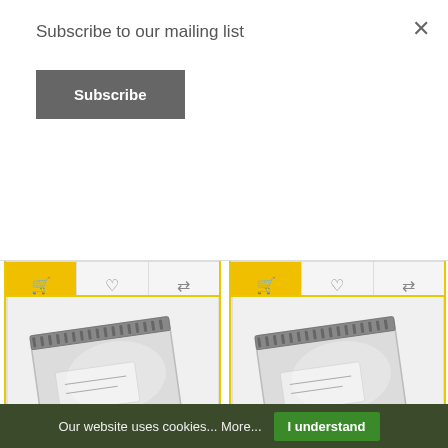Subscribe to our mailing list
Subscribe
bigge..
£15.00
EX VAT: £12.50
bigge..
£4.20
EX VAT: £3.50
[Figure (photo): Mailing bag / postal envelope product image (bottom left card)]
[Figure (photo): Mailing bag / postal envelope product image (bottom right card)]
Our website uses cookies... More...
I understand